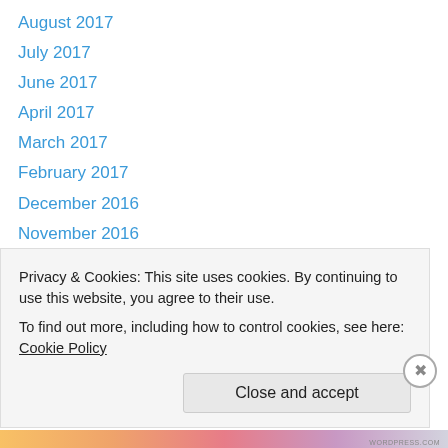August 2017
July 2017
June 2017
April 2017
March 2017
February 2017
December 2016
November 2016
October 2016
September 2016
August 2016
July 2016
June 2016
Privacy & Cookies: This site uses cookies. By continuing to use this website, you agree to their use. To find out more, including how to control cookies, see here: Cookie Policy